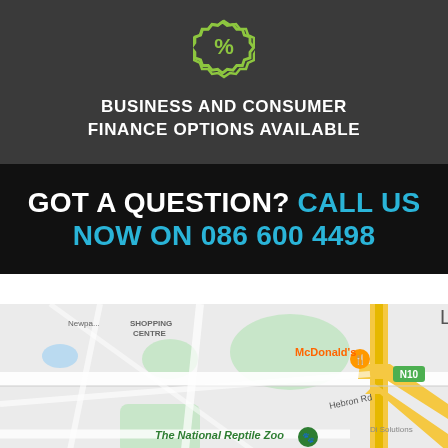[Figure (infographic): Green percentage/discount badge icon on dark grey background]
BUSINESS AND CONSUMER FINANCE OPTIONS AVAILABLE
GOT A QUESTION? CALL US NOW ON 086 600 4498
[Figure (map): Google Maps screenshot showing Kilkenny area with McDonald's, The National Reptile Zoo, Hebron Rd, N10 road, Dublin Rd, R887, and Leggettsrath visible]